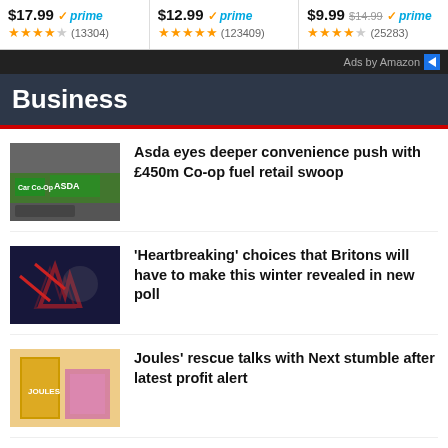[Figure (screenshot): Amazon ads strip showing three products with prices, Prime badges, and star ratings: $17.99 Prime (4.5 stars, 13304 reviews), $12.99 Prime (5 stars, 123409 reviews), $9.99 was $14.99 Prime (4.5 stars, 25283 reviews)]
Ads by Amazon
Business
Asda eyes deeper convenience push with £450m Co-op fuel retail swoop
'Heartbreaking' choices that Britons will have to make this winter revealed in new poll
Joules' rescue talks with Next stumble after latest profit alert
Putin enjoying UK's energy bills crisis and